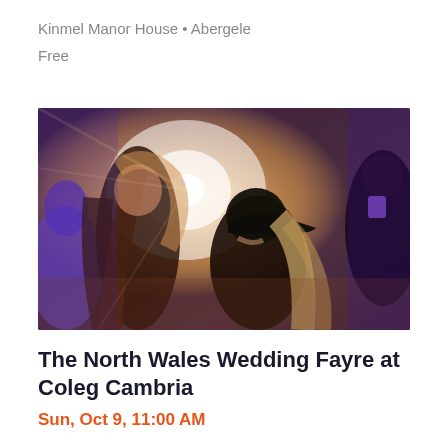Kinmel Manor House • Abergele
Free
[Figure (photo): Crowd of people at an indoor event with bright stage lighting, several young women with long hair and a person wearing a dark cap in the foreground, purple tones in background]
The North Wales Wedding Fayre at Coleg Cambria
Sun, Oct 9, 11:00 AM